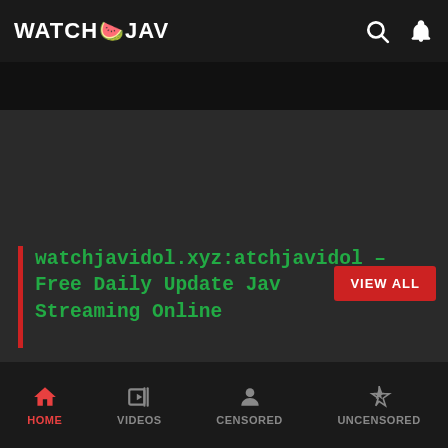WATCH🍉JAV
[Figure (screenshot): Dark video player area with black top bar]
watchjavidol.xyz:atchjavidol – Free Daily Update Jav Streaming Online
HOME | VIDEOS | CENSORED | UNCENSORED